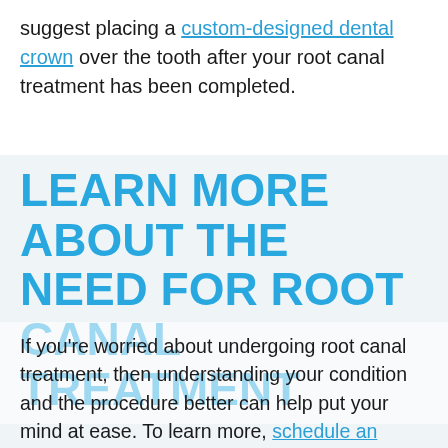suggest placing a custom-designed dental crown over the tooth after your root canal treatment has been completed.
LEARN MORE ABOUT THE NEED FOR ROOT CANAL TREATMENT
If you're worried about undergoing root canal treatment, then understanding your condition and the procedure better can help put your mind at ease. To learn more, schedule an appointment with your dentist by calling Keelan Dental in Butler, PA, at (724) 256-4612. Our Smile